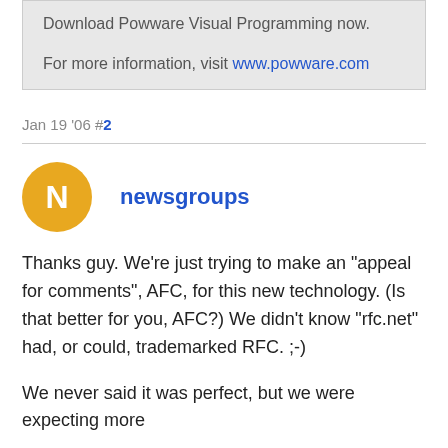Download Powware Visual Programming now.

For more information, visit www.powware.com
Jan 19 '06 #2
newsgroups
Thanks guy. We're just trying to make an "appeal for comments", AFC, for this new technology. (Is that better for you, AFC?) We didn't know "rfc.net" had, or could, trademarked RFC. ;-)
We never said it was perfect, but we were expecting more